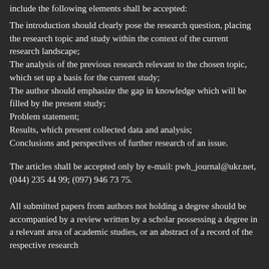include the following elements shall be accepted:
The introduction should clearly pose the research question, placing the research topic and study within the context of the current research landscape;
The analysis of the previous research relevant to the chosen topic, which set up a basis for the current study;
The author should emphasize the gap in knowledge which will be filled by the present study;
Problem statement;
Results, which present collected data and analysis;
Conclusions and perspectives of further research of an issue.
The articles shall be accepted only by e-mail: pwh_journal@ukr.net, (044) 235 44 99; (097) 946 73 75.
All submitted papers from authors not holding a degree should be accompanied by a review written by a scholar possessing a degree in a relevant area of academic studies, or an abstract of a record of the respective research